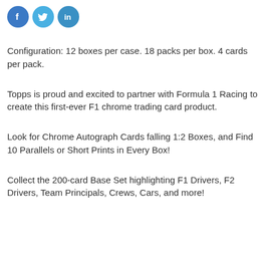[Figure (other): Social media icon buttons for Facebook, Twitter, and LinkedIn]
Configuration: 12 boxes per case. 18 packs per box. 4 cards per pack.
Topps is proud and excited to partner with Formula 1 Racing to create this first-ever F1 chrome trading card product.
Look for Chrome Autograph Cards falling 1:2 Boxes, and Find 10 Parallels or Short Prints in Every Box!
Collect the 200-card Base Set highlighting F1 Drivers, F2 Drivers, Team Principals, Crews, Cars, and more!